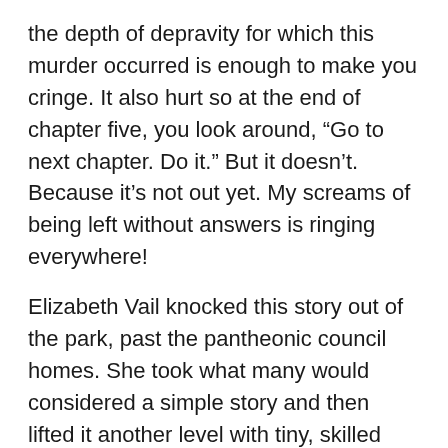the depth of depravity for which this murder occurred is enough to make you cringe. It also hurt so at the end of chapter five, you look around, “Go to next chapter. Do it.” But it doesn’t. Because it’s not out yet. My screams of being left without answers is ringing everywhere!
Elizabeth Vail knocked this story out of the park, past the pantheonic council homes. She took what many would considered a simple story and then lifted it another level with tiny, skilled details which shatter not just convention, but make you ask- Do you follow because it’s just how it is or do you do what’s right, even if you get hurt. These and other questions get you wondering just how much is going on behind the scene.
The voice work of Cary Hite and Sarah Mollo-